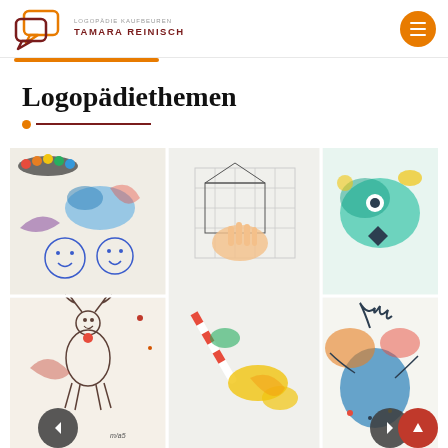[Figure (logo): Logopädie Kaufbeuren Tamara Reinisch logo with speech bubble icon and text]
Logopädiethemen
[Figure (photo): Collage of 5 children's artwork photos showing paintings and drawings with watercolors and ink, including smiley faces, abstract color splashes, a hand on a worksheet, monster paintings, and a reindeer drawing. Navigation arrows (prev/next) at bottom and a scroll-to-top red button.]